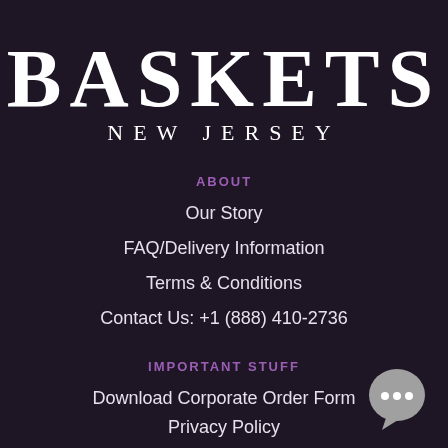BASKETS NEW JERSEY
ABOUT
Our Story
FAQ/Delivery Information
Terms & Conditions
Contact Us: +1 (888) 410-2736
IMPORTANT STUFF
Download Corporate Order Form
Privacy Policy
[Figure (illustration): Chat bubble icon with three dots, grey circle with rounded bottom-right tail]